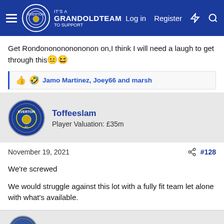It's a GRANDOLDTEAM TO SUPPORT — Log in  Register
Get Rondononononononon on,I think I will need a laugh to get through this😐😆
👍 🤣 Jamo Martinez, Joey66 and marsh
Toffeeslam
Player Valuation: £35m
November 19, 2021  #128
We're screwed

We would struggle against this lot with a fully fit team let alone with what's available.

Just keep it respectable lads
Ufotone